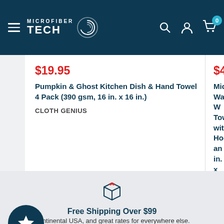[Figure (screenshot): Microfiber Tech e-commerce website header with hamburger menu, logo, search, account, and cart icons]
$19.95
Pumpkin & Ghost Kitchen Dish & Hand Towel 4 Pack (390 gsm, 16 in. x 16 in.)
CLOTH GENIUS
$4.45
Microfiber Waffle W... Towel with Hook an... in. x 24 in.)
CLOTHLETE
[Figure (illustration): Package/box icon with red striped tape]
Free Shipping Over $99
Continental USA, and great rates for everywhere else.